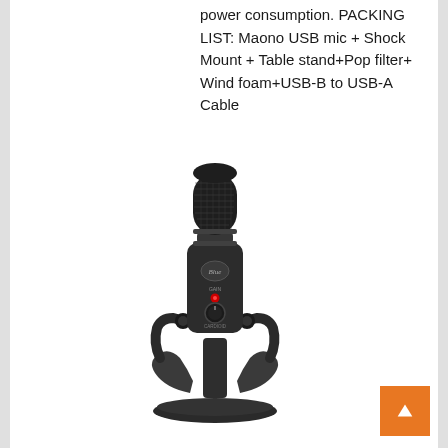power consumption. PACKING LIST: Maono USB mic + Shock Mount + Table stand+Pop filter+ Wind foam+USB-B to USB-A Cable
[Figure (photo): A dark matte black USB condenser microphone (Blue Yeti style) on a desktop stand, featuring a mesh grille at top, a round knob and red indicator light on the body, and a wide circular base. The microphone is mounted on a yoke-style adjustable stand.]